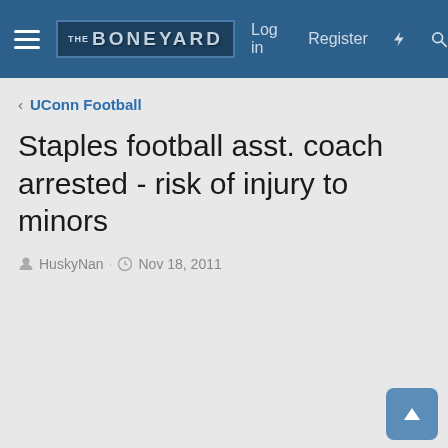THE BONEYARD | Log in  Register
< UConn Football
Staples football asst. coach arrested - risk of injury to minors
HuskyNan · Nov 18, 2011